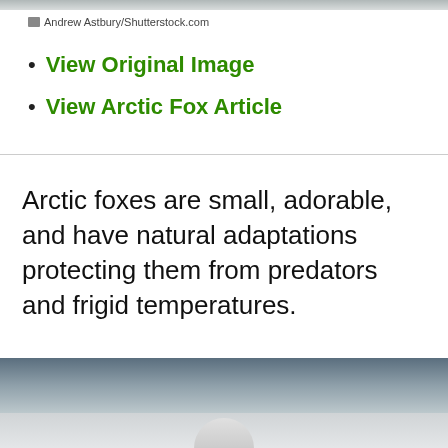[Figure (photo): Top portion of an image, showing a grey gradient bar — cropped photo top edge]
Andrew Astbury/Shutterstock.com
View Original Image
View Arctic Fox Article
Arctic foxes are small, adorable, and have natural adaptations protecting them from predators and frigid temperatures.
[Figure (photo): Bottom portion of page showing a cropped photo of an arctic fox in a snowy mountain landscape]